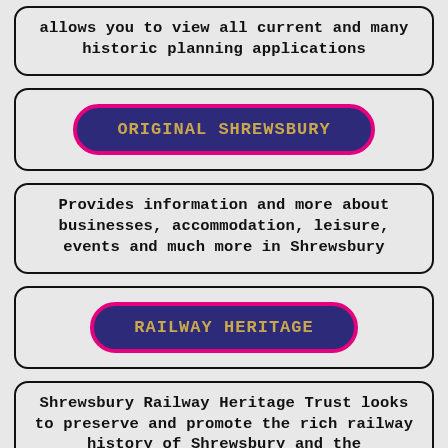allows you to view all current and many historic planning applications
ORIGINAL SHREWSBURY
Provides information and more about businesses, accommodation, leisure, events and much more in Shrewsbury
RAILWAY HERITAGE
Shrewsbury Railway Heritage Trust looks to preserve and promote the rich railway history of Shrewsbury and the surrounding area